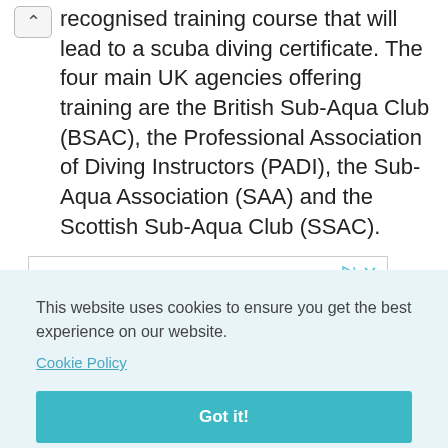recognised training course that will lead to a scuba diving certificate. The four main UK agencies offering training are the British Sub-Aqua Club (BSAC), the Professional Association of Diving Instructors (PADI), the Sub-Aqua Association (SAA) and the Scottish Sub-Aqua Club (SSAC).
[Figure (other): Advertisement box with ad icons (play and close) and partial bold text visible]
This website uses cookies to ensure you get the best experience on our website.
Cookie Policy
Got it!